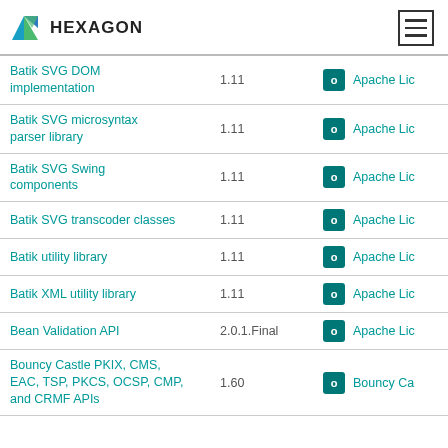HEXAGON
| Name | Version | Type | License |
| --- | --- | --- | --- |
| Batik SVG DOM implementation | 1.11 | o | Apache Lic |
| Batik SVG microsyntax parser library | 1.11 | o | Apache Lic |
| Batik SVG Swing components | 1.11 | o | Apache Lic |
| Batik SVG transcoder classes | 1.11 | o | Apache Lic |
| Batik utility library | 1.11 | o | Apache Lic |
| Batik XML utility library | 1.11 | o | Apache Lic |
| Bean Validation API | 2.0.1.Final | o | Apache Lic |
| Bouncy Castle PKIX, CMS, EAC, TSP, PKCS, OCSP, CMP, and CRMF APIs | 1.60 | o | Bouncy Ca |